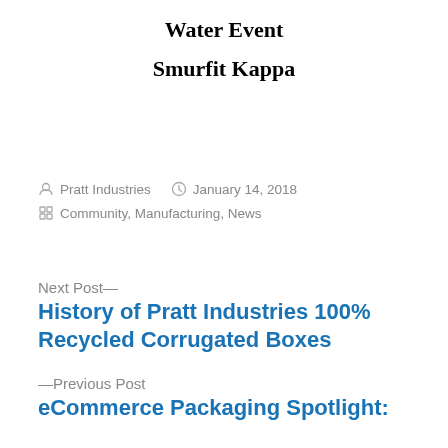Water Event
Smurfit Kappa
Pratt Industries   January 14, 2018
Community, Manufacturing, News
Next Post—
History of Pratt Industries 100% Recycled Corrugated Boxes
—Previous Post
eCommerce Packaging Spotlight: